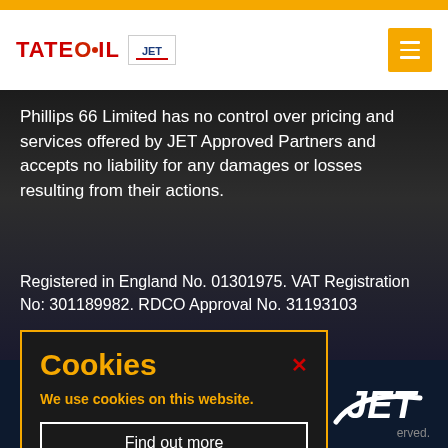TATEOIL [JET logo badge]
Phillips 66 Limited has no control over pricing and services offered by JET Approved Partners and accepts no liability for any damages or losses resulting from their actions.
Registered in England No. 01301975. VAT Registration No: 301189982. RDCO Approval No. 31193103
[Figure (logo): JET logo in white on dark navy background, stylized italic text JET with swoosh]
Cookies
We use cookies on this website.
Find out more
erved.